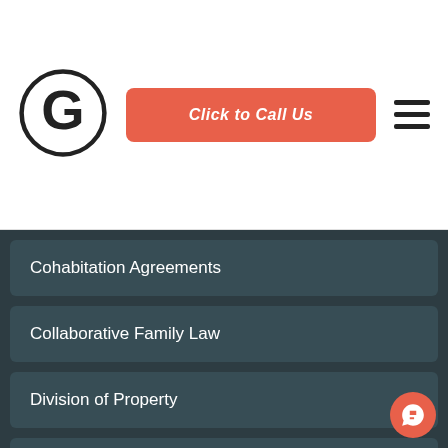[Figure (logo): Circular G logo mark for a law firm]
Click to Call Us
Cohabitation Agreements
Collaborative Family Law
Division of Property
Divorce
Divorce and Social Media
Divorce for Non-Resident Same-Sex Spouses in Canada